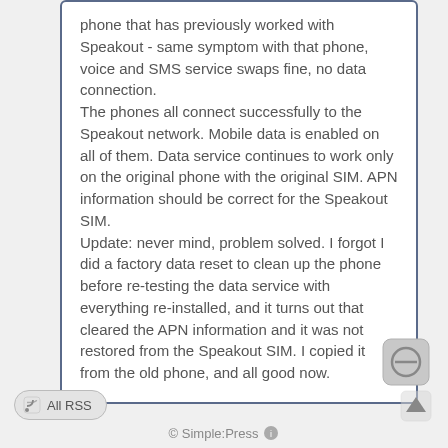phone that has previously worked with Speakout - same symptom with that phone, voice and SMS service swaps fine, no data connection. The phones all connect successfully to the Speakout network. Mobile data is enabled on all of them. Data service continues to work only on the original phone with the original SIM. APN information should be correct for the Speakout SIM. Update: never mind, problem solved. I forgot I did a factory data reset to clean up the phone before re-testing the data service with everything re-installed, and it turns out that cleared the APN information and it was not restored from the Speakout SIM. I copied it from the old phone, and all good now.
[Figure (other): Circular no-entry icon button (grey rounded square button)]
[Figure (other): RSS feed button labeled 'All RSS' with RSS icon]
[Figure (other): Up arrow/scroll-to-top button]
© Simple:Press